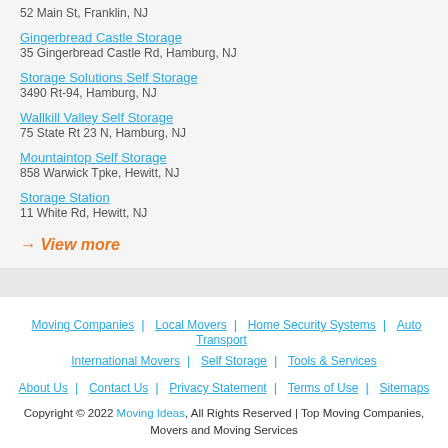52 Main St, Franklin, NJ
Gingerbread Castle Storage
35 Gingerbread Castle Rd, Hamburg, NJ
Storage Solutions Self Storage
3490 Rt-94, Hamburg, NJ
Wallkill Valley Self Storage
75 State Rt 23 N, Hamburg, NJ
Mountaintop Self Storage
858 Warwick Tpke, Hewitt, NJ
Storage Station
11 White Rd, Hewitt, NJ
→ View more
Moving Companies | Local Movers | Home Security Systems | Auto Transport | International Movers | Self Storage | Tools & Services
About Us | Contact Us | Privacy Statement | Terms of Use | Sitemaps
Copyright © 2022 Moving Ideas, All Rights Reserved | Top Moving Companies, Movers and Moving Services